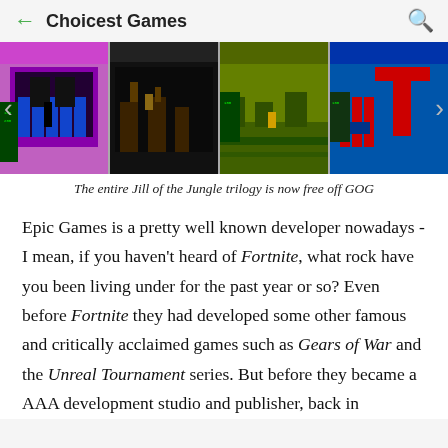Choicest Games
[Figure (screenshot): Horizontal image strip showing four retro game screenshots from Jill of the Jungle trilogy, with left and right navigation arrows on either side.]
The entire Jill of the Jungle trilogy is now free off GOG
Epic Games is a pretty well known developer nowadays - I mean, if you haven't heard of Fortnite, what rock have you been living under for the past year or so? Even before Fortnite they had developed some other famous and critically acclaimed games such as Gears of War and the Unreal Tournament series. But before they became a AAA development studio and publisher, back in